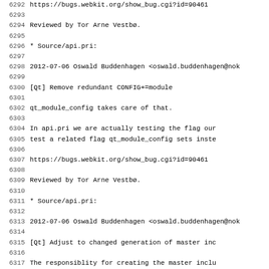6292    https://bugs.webkit.org/show_bug.cgi?id=90461
6293
6294        Reviewed by Tor Arne Vestbø.
6295
6296        * Source/api.pri:
6297
6298 2012-07-06  Oswald Buddenhagen  <oswald.buddenhagen@nok
6299
6300        [Qt] Remove redundant CONFIG+=module
6301
6302        qt_module_config takes care of that.
6303
6304        In api.pri we are actually testing the flag our
6305        test a related flag qt_module_config sets inste
6306
6307        https://bugs.webkit.org/show_bug.cgi?id=90461
6308
6309        Reviewed by Tor Arne Vestbø.
6310
6311        * Source/api.pri:
6312
6313 2012-07-06  Oswald Buddenhagen  <oswald.buddenhagen@nok
6314
6315        [Qt] Adjust to changed generation of master inc
6316
6317        The responsiblity for creating the master inclu
6318        @ignore_for_master_contents still stays, as syn
6319        determining whether a header is private.
6320
6321        https://bugs.webkit.org/show_bug.cgi?id=90461
6322
6323        Reviewed by Tor Arne Vestbø.